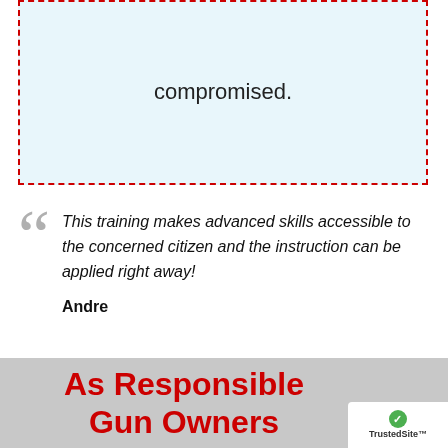compromised.
This training makes advanced skills accessible to the concerned citizen and the instruction can be applied right away!

Andre
As Responsible Gun Owners